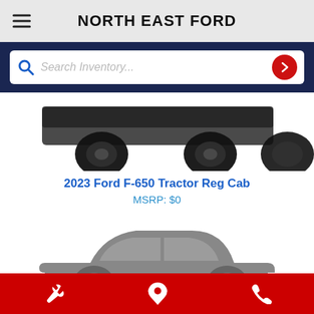NORTH EAST FORD
[Figure (screenshot): Search inventory bar with magnifying glass icon on left and red arrow button on right, placeholder text 'Search Inventory...']
[Figure (photo): Partial view of a dark truck (Ford F-650) showing wheels and undercarriage at bottom of frame]
2023 Ford F-650 Tractor Reg Cab
MSRP: $0
[Figure (illustration): Gray silhouette placeholder image of a sedan/car profile facing right]
Wrench icon | Location pin icon | Phone icon